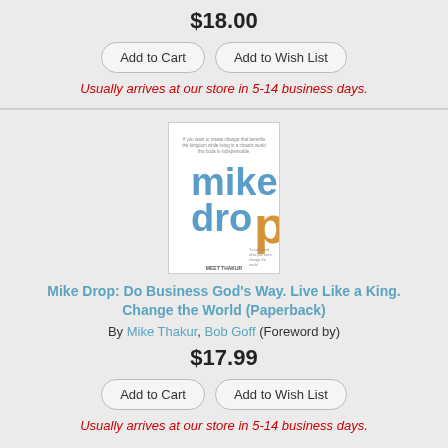$18.00
Add to Cart | Add to Wish List
Usually arrives at our store in 5-14 business days.
[Figure (illustration): Book cover for Mike Drop showing large text 'mike dro p' with 'mike' and 'dro' in blue and 'p' in orange/gold, white background, by Meet Thakur]
Mike Drop: Do Business God's Way. Live Like a King. Change the World (Paperback)
By Mike Thakur, Bob Goff (Foreword by)
$17.99
Add to Cart | Add to Wish List
Usually arrives at our store in 5-14 business days.
[Figure (illustration): Partial view of another book cover at the bottom of the page]